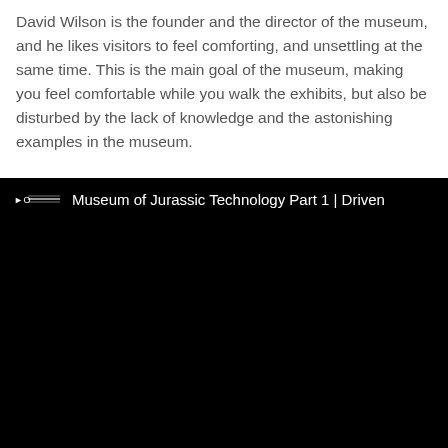David Wilson is the founder and the director of the museum, and he likes visitors to feel comforting, and unsettling at the same time. This is the main goal of the museum, making you feel comfortable while you walk the exhibits, but also be disturbed by the lack of knowledge and the astonishing examples in the museum.
[Figure (screenshot): Embedded video player with black background showing title bar 'Museum of Jurassic Technology Part 1 | Driven' with a play icon on the left.]